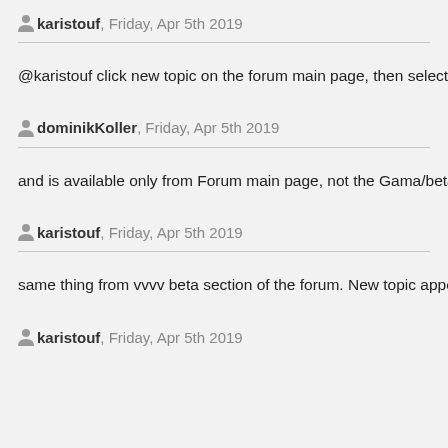karistouf, Friday, Apr 5th 2019
@karistouf click new topic on the forum main page, then select vvvv G
dominikKoller, Friday, Apr 5th 2019
and is available only from Forum main page, not the Gama/beta secti
karistouf, Friday, Apr 5th 2019
same thing from vvvv beta section of the forum. New topic appears o
karistouf, Friday, Apr 5th 2019